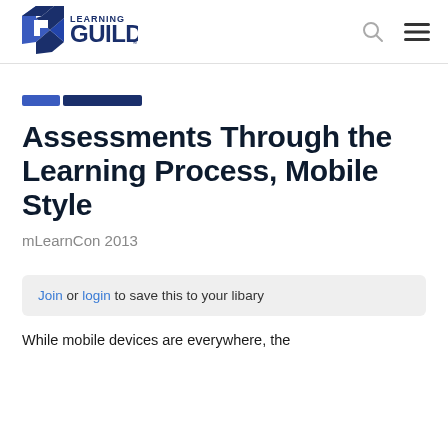Learning Guild
[Figure (logo): Learning Guild logo with stylized G icon and text 'LEARNING GUILD']
Assessments Through the Learning Process, Mobile Style
mLearnCon 2013
Join or login to save this to your libary
While mobile devices are everywhere, the